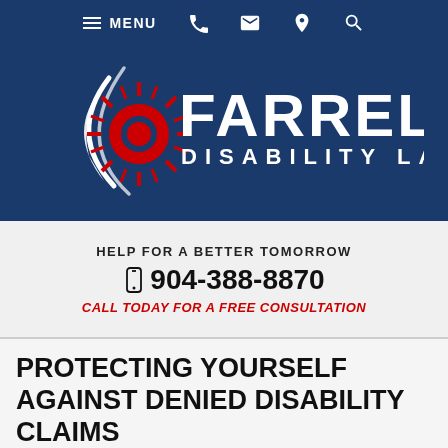MENU  [phone] [email] [location] [search]
[Figure (logo): Farrell Disability Law logo — red sun/spiky circle with white swoosh arc on dark blue background, text FARRELL DISABILITY LAW in white]
HELP FOR A BETTER TOMORROW
904-388-8870
CALL TODAY FOR A FREE CONSULTATION
PROTECTING YOURSELF AGAINST DENIED DISABILITY CLAIMS
[Figure (illustration): Accessibility wheelchair icon (blue circle with white figure), black stamp-style image (partially visible), and beginning of body text]
When long-term disabilities occur as a